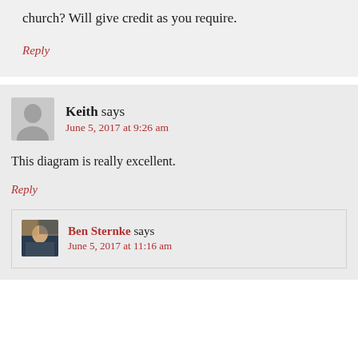church? Will give credit as you require.
Reply
Keith says
June 5, 2017 at 9:26 am
This diagram is really excellent.
Reply
Ben Sternke says
June 5, 2017 at 11:16 am